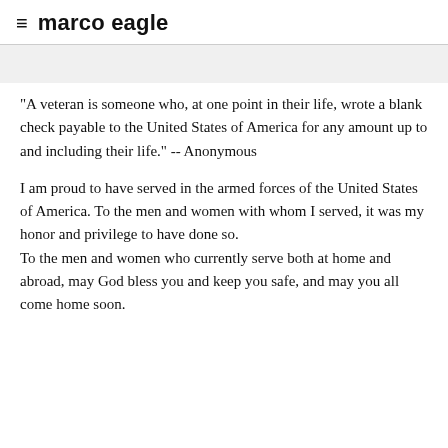≡ marco eagle
"A veteran is someone who, at one point in their life, wrote a blank check payable to the United States of America for any amount up to and including their life." -- Anonymous
I am proud to have served in the armed forces of the United States of America. To the men and women with whom I served, it was my honor and privilege to have done so.
To the men and women who currently serve both at home and abroad, may God bless you and keep you safe, and may you all come home soon.